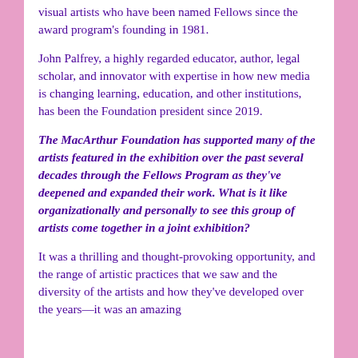visual artists who have been named Fellows since the award program's founding in 1981.
John Palfrey, a highly regarded educator, author, legal scholar, and innovator with expertise in how new media is changing learning, education, and other institutions, has been the Foundation president since 2019.
The MacArthur Foundation has supported many of the artists featured in the exhibition over the past several decades through the Fellows Program as they've deepened and expanded their work. What is it like organizationally and personally to see this group of artists come together in a joint exhibition?
It was a thrilling and thought-provoking opportunity, and the range of artistic practices that we saw and the diversity of the artists and how they've developed over the years—it was an amazing